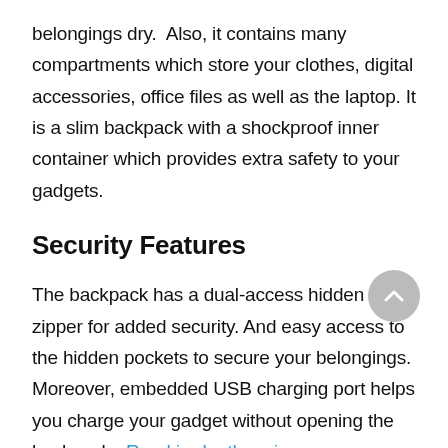belongings dry.  Also, it contains many compartments which store your clothes, digital accessories, office files as well as the laptop. It is a slim backpack with a shockproof inner container which provides extra safety to your gadgets.
Security Features
The backpack has a dual-access hidden zipper for added security. And easy access to the hidden pockets to secure your belongings. Moreover, embedded USB charging port helps you charge your gadget without opening the backpack...Read in-depth review